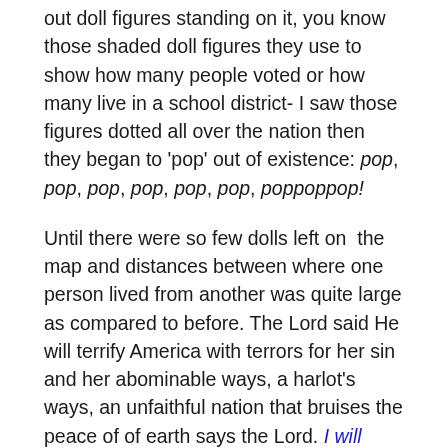out doll figures standing on it, you know those shaded doll figures they use to show how many people voted or how many live in a school district- I saw those figures dotted all over the nation then they began to 'pop' out of existence: pop, pop, pop, pop, pop, pop, poppoppop!
Until there were so few dolls left on the map and distances between where one person lived from another was quite large as compared to before. The Lord said He will terrify America with terrors for her sin and her abominable ways, a harlot's ways, an unfaithful nation that bruises the peace of of earth says the Lord. I will reduce them til they be like sticks in the wind. I will finish them because strength is in numbers, I will remove them until they are hardly able to fight any war or battle